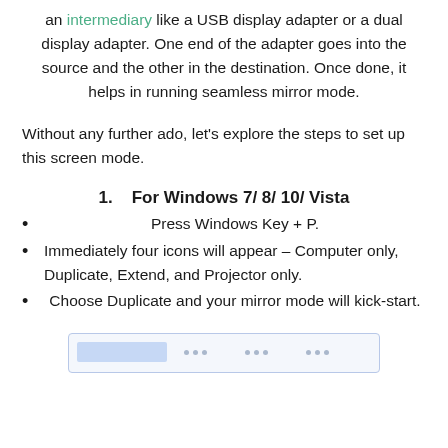an intermediary like a USB display adapter or a dual display adapter. One end of the adapter goes into the source and the other in the destination. Once done, it helps in running seamless mirror mode.
Without any further ado, let’s explore the steps to set up this screen mode.
1.   For Windows 7/ 8/ 10/ Vista
Press Windows Key + P.
Immediately four icons will appear – Computer only, Duplicate, Extend, and Projector only.
Choose Duplicate and your mirror mode will kick-start.
[Figure (screenshot): Partial screenshot of a Windows display settings dialog showing a toolbar or selection bar at the top]